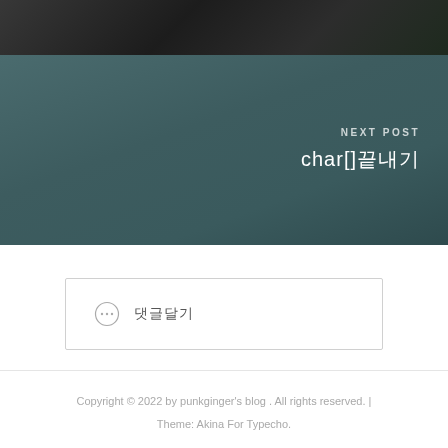[Figure (photo): Dark photo strip showing partial image of a person in dark clothing, serves as background for the top portion of the page]
NEXT POST
char[]끝내기
⊙ 댓글달기
Copyright © 2022 by punkginger's blog . All rights reserved. | Theme: Akina For Typecho.